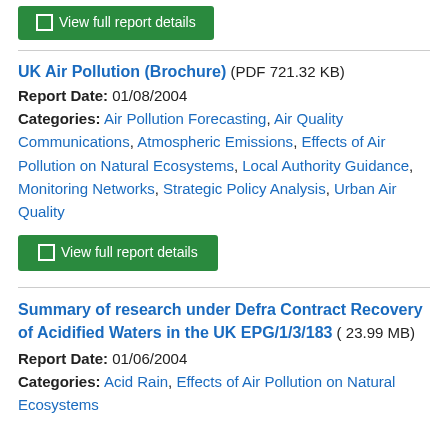[Figure (other): Green 'View full report details' button at top of page (partially visible)]
UK Air Pollution (Brochure) (PDF 721.32 KB)
Report Date: 01/08/2004
Categories: Air Pollution Forecasting, Air Quality Communications, Atmospheric Emissions, Effects of Air Pollution on Natural Ecosystems, Local Authority Guidance, Monitoring Networks, Strategic Policy Analysis, Urban Air Quality
[Figure (other): Green 'View full report details' button]
Summary of research under Defra Contract Recovery of Acidified Waters in the UK EPG/1/3/183 ( 23.99 MB)
Report Date: 01/06/2004
Categories: Acid Rain, Effects of Air Pollution on Natural Ecosystems